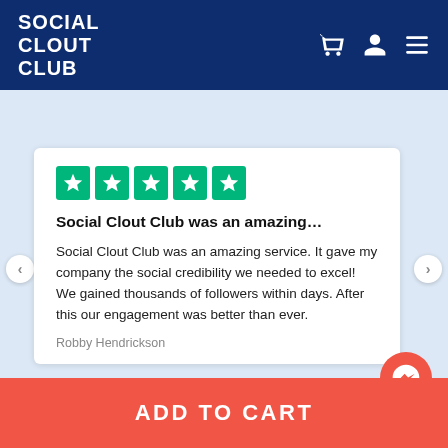SOCIAL CLOUT CLUB
[Figure (screenshot): Five green Trustpilot star rating boxes]
Social Clout Club was an amazing…
Social Clout Club was an amazing service. It gave my company the social credibility we needed to excel! We gained thousands of followers within days. After this our engagement was better than ever.
Robby Hendrickson
ADD TO CART